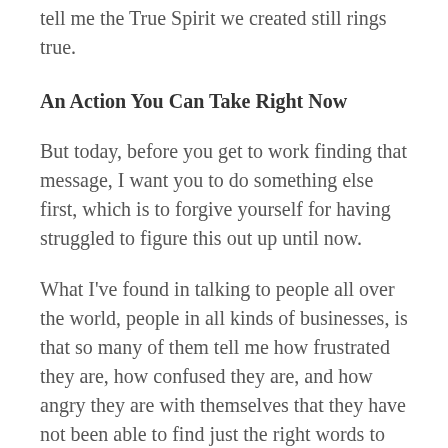tell me the True Spirit we created still rings true.
An Action You Can Take Right Now
But today, before you get to work finding that message, I want you to do something else first, which is to forgive yourself for having struggled to figure this out up until now.
What I've found in talking to people all over the world, people in all kinds of businesses, is that so many of them tell me how frustrated they are, how confused they are, and how angry they are with themselves that they have not been able to find just the right words to communicate their